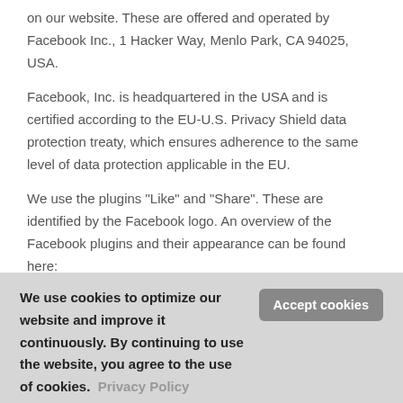on our website. These are offered and operated by Facebook Inc., 1 Hacker Way, Menlo Park, CA 94025, USA.
Facebook, Inc. is headquartered in the USA and is certified according to the EU-U.S. Privacy Shield data protection treaty, which ensures adherence to the same level of data protection applicable in the EU.
We use the plugins “Like” and “Share”. These are identified by the Facebook logo. An overview of the Facebook plugins and their appearance can be found here: https://developers.facebook.com/docs/plugins
We use cookies to optimize our website and improve it continuously. By continuing to use the website, you agree to the use of cookies. Privacy Policy